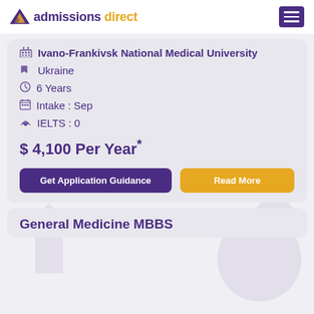admissions direct
Ivano-Frankivsk National Medical University
Ukraine
6 Years
Intake : Sep
IELTS : 0
$ 4,100 Per Year*
Get Application Guidance
Read More
General Medicine MBBS